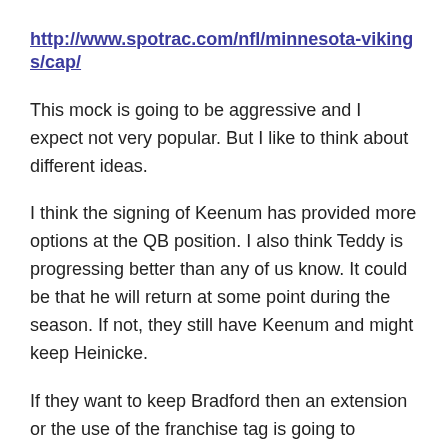http://www.spotrac.com/nfl/minnesota-vikings/cap/
This mock is going to be aggressive and I expect not very popular. But I like to think about different ideas.
I think the signing of Keenum has provided more options at the QB position. I also think Teddy is progressing better than any of us know. It could be that he will return at some point during the season. If not, they still have Keenum and might keep Heinicke.
If they want to keep Bradford then an extension or the use of the franchise tag is going to happen. That means Teddy is likely gone after next year. I cannot see him willing to sign an extension with Bradford solidified as the starter.